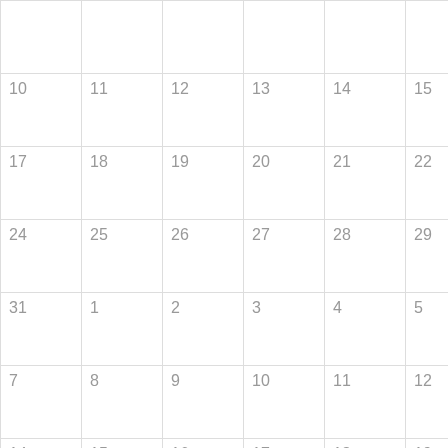|  |  |  |  |  |  |  |
| 10 | 11 | 12 | 13 | 14 | 15 | 16 |
| 17 | 18 | 19 | 20 | 21 | 22 | 23 |
| 24 | 25 | 26 | 27 | 28 | 29 | 30 |
| 31 | 1 | 2 | 3 | 4 | 5 | 6 |
| 7 | 8 | 9 | 10 | 11 | 12 | 13 |
| 14 | 15 | 16 | 17 | 18 | 19 | 20 |
| 21 | 22 | 23 | 24 | 25 | 26 | 27 |